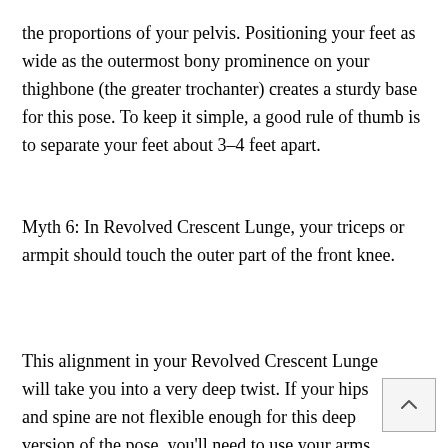the proportions of your pelvis. Positioning your feet as wide as the outermost bony prominence on your thighbone (the greater trochanter) creates a sturdy base for this pose. To keep it simple, a good rule of thumb is to separate your feet about 3–4 feet apart.
Myth 6: In Revolved Crescent Lunge, your triceps or armpit should touch the outer part of the front knee.
This alignment in your Revolved Crescent Lunge will take you into a very deep twist. If your hips and spine are not flexible enough for this deep version of the pose, you'll need to use your arms to get into it, which commonly causes the spine to round. This rotation and added flexion of the spine increases the pressure on the intervertebral